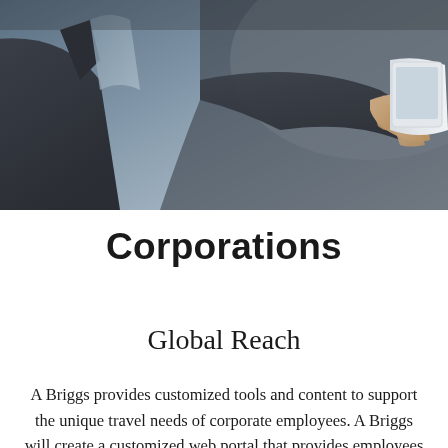[Figure (photo): Close-up photo of a businessman in a dark suit holding a white tablet device, shot from chest level with blue-grey tones]
Corporations
Global Reach
A Briggs provides customized tools and content to support the unique travel needs of corporate employees. A Briggs will create a customized web portal that provides employees